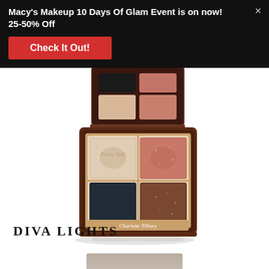Macy's Makeup 10 Days Of Glam Event is on now! 25-50% Off
Check It Out!
[Figure (photo): Charlotte Tilbury Diva Lights eyeshadow palette open, showing four pans: top row small swatches (black, rose), bottom row large pans (nude/champagne, coral-pink shimmer, dark navy, warm brown shimmer), in a gold and dark brown compact]
DIVA LIGHTS
[Figure (photo): Partial view of another Charlotte Tilbury palette at the bottom of the page]